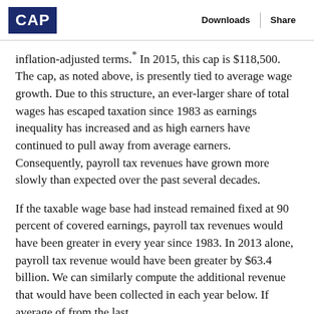CAP | Downloads | Share
inflation-adjusted terms.* In 2015, this cap is $118,500. The cap, as noted above, is presently tied to average wage growth. Due to this structure, an ever-larger share of total wages has escaped taxation since 1983 as earnings inequality has increased and as high earners have continued to pull away from average earners. Consequently, payroll tax revenues have grown more slowly than expected over the past several decades.
If the taxable wage base had instead remained fixed at 90 percent of covered earnings, payroll tax revenues would have been greater in every year since 1983. In 2013 alone, payroll tax revenue would have been greater by $63.4 billion. We can similarly compute the additional revenue that would have been collected in each year below. If average of from the last...